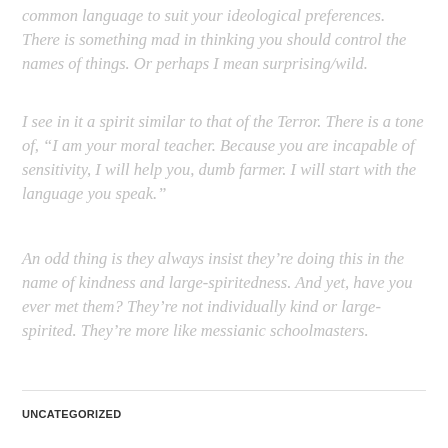common language to suit your ideological preferences. There is something mad in thinking you should control the names of things. Or perhaps I mean surprising/wild.
I see in it a spirit similar to that of the Terror. There is a tone of, “I am your moral teacher. Because you are incapable of sensitivity, I will help you, dumb farmer. I will start with the language you speak.”
An odd thing is they always insist they’re doing this in the name of kindness and large-spiritedness. And yet, have you ever met them? They’re not individually kind or large-spirited. They’re more like messianic schoolmasters.
UNCATEGORIZED